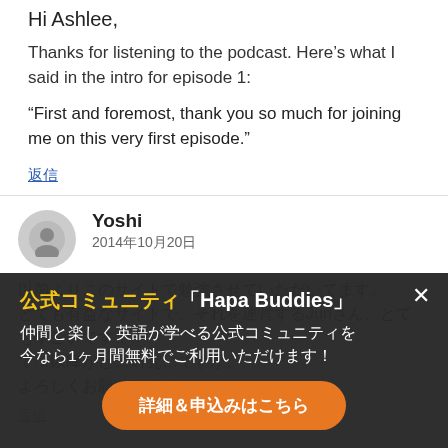Hi Ashlee,
Thanks for listening to the podcast. Here's what I said in the intro for episode 1:
“First and foremost, thank you so much for joining me on this very first episode.”
返信
Yoshi
2014年10月20日
以前よりこのサイトで勉強させていただいてます。とても有益なサイトで、それを運営するJunさん、とてもすごいです！て…以降がど…研究…ですか。よろしくお願いします。
返信
公式コミュニティ「Hapa Buddies」
仲間と楽しく英語が学べる公式コミュニティを
今なら1ヶ月間無料でご利用いただけます！
詳細＆申込みはこちら